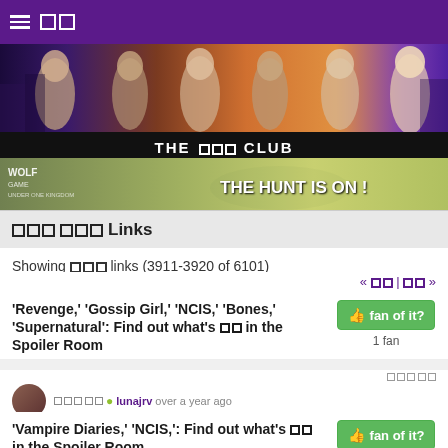THE □□□ CLUB
[Figure (photo): Banner image showing TV show cast members with city background]
[Figure (photo): Advertisement banner: Wolf Game - The Hunt Is On!]
□□□ □□□ Links
Showing □□□ links (3911-3920 of 6101)
« □□ | □□ »
'Revenge,' 'Gossip Girl,' 'NCIS,' 'Bones,' 'Supernatural': Find out what's □□ in the Spoiler Room
fan of it? 1 fan
□□□ □□
□□□ □□ lunajrv over a year ago
'Vampire Diaries,' 'NCIS,': Find out what's □□ in the Spoiler Room
fan of it? 1 fan